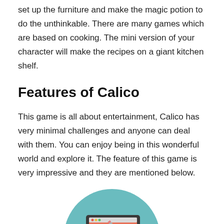set up the furniture and make the magic potion to do the unthinkable. There are many games which are based on cooking. The mini version of your character will make the recipes on a giant kitchen shelf.
Features of Calico
This game is all about entertainment, Calico has very minimal challenges and anyone can deal with them. You can enjoy being in this wonderful world and explore it. The feature of this game is very impressive and they are mentioned below.
[Figure (illustration): A teal circle containing a flat-style illustration of a desktop computer monitor with a salmon/coral colored screen showing a curved line and a pencil/stylus, with a white stand and base.]